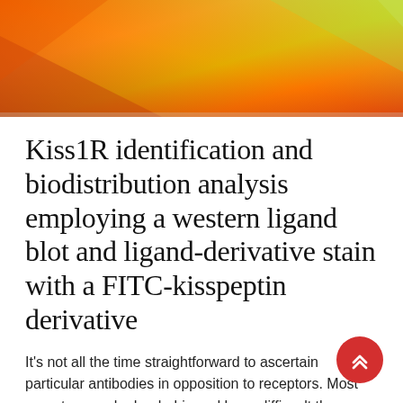[Figure (photo): Abstract orange, yellow, and red gradient background image used as a decorative hero banner at the top of the page.]
Kiss1R identification and biodistribution analysis employing a western ligand blot and ligand-derivative stain with a FITC-kisspeptin derivative
It's not all the time straightforward to ascertain particular antibodies in opposition to receptors. Most receptors are hydrophobic and have difficult three-dimensional buildings, making them